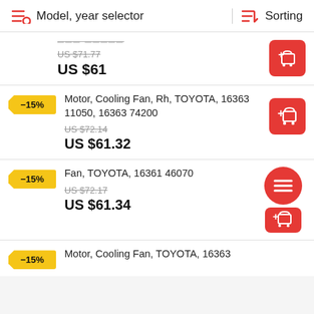Model, year selector   Sorting
US $71.77
US $61
Motor, Cooling Fan, Rh, TOYOTA, 16363 11050, 16363 74200
US $72.14
US $61.32
Fan, TOYOTA, 16361 46070
US $72.17
US $61.34
Motor, Cooling Fan, TOYOTA, 16363